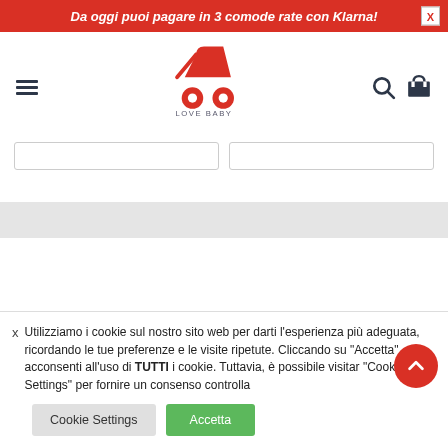Da oggi puoi pagare in 3 comode rate con Klarna!
[Figure (logo): Love Baby logo with red stroller icon and text LOVE BABY]
[Figure (other): Two empty input form fields side by side]
[Figure (other): Gray horizontal section bar]
Utilizziamo i cookie sul nostro sito web per darti l'esperienza più adeguata, ricordando le tue preferenze e le visite ripetute. Cliccando su "Accetta", acconsenti all'uso di TUTTI i cookie. Tuttavia, è possibile visitar "Cookie Settings" per fornire un consenso controlla